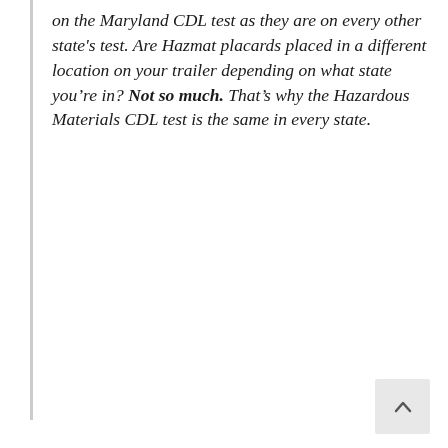on the Maryland CDL test as they are on every other state's test. Are Hazmat placards placed in a different location on your trailer depending on what state you're in? Not so much. That's why the Hazardous Materials CDL test is the same in every state.